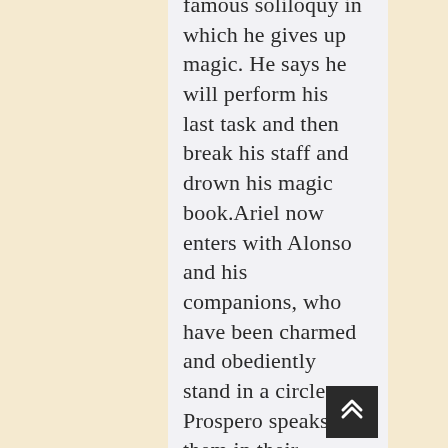famous soliloquy in which he gives up magic. He says he will perform his last task and then break his staff and drown his magic book. Ariel now enters with Alonso and his companions, who have been charmed and obediently stand in a circle. Prospero speaks to them in their charmed state,